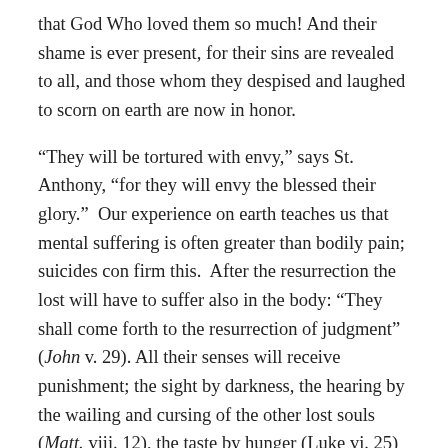that God Who loved them so much! And their shame is ever present, for their sins are revealed to all, and those whom they despised and laughed to scorn on earth are now in honor.
“They will be tortured with envy,” says St. Anthony, “for they will envy the blessed their glory.”  Our experience on earth teaches us that mental suffering is often greater than bodily pain; suicides con firm this.  After the resurrection the lost will have to suffer also in the body: “They shall come forth to the resurrection of judgment” (John v. 29).  All their senses will receive punishment; the sight by darkness, the hearing by the wailing and cursing of the other lost souls (Matt. viii. 12), the taste by hunger (Luke vi. 25) and thirst (Luke xvi. 24), the smell by the unbearable stench, and the sense of touch by the torture of heat and cold.  Other pains may be added; for instance, we read of wicked men whose bodies were devoured by worms (Acts